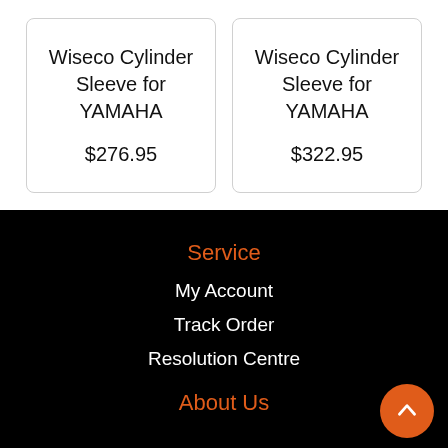Wiseco Cylinder Sleeve for YAMAHA
$276.95
Wiseco Cylinder Sleeve for YAMAHA
$322.95
Service
My Account
Track Order
Resolution Centre
About Us